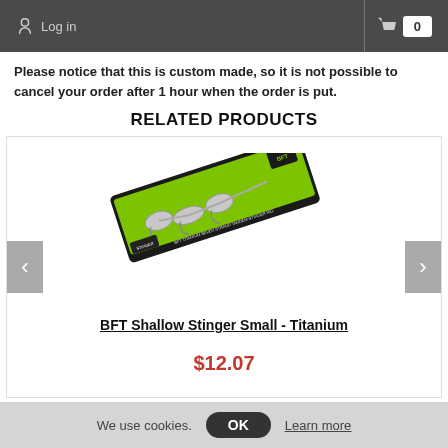Log in  0
Please notice that this is custom made, so it is not possible to cancel your order after 1 hour when the order is put.
RELATED PRODUCTS
[Figure (photo): BFT Shallow Stinger Small - Titanium fishing rig product in bright green packaging with black card, showing tandem stinger hooks on a blister pack]
BFT Shallow Stinger Small - Titanium
$12.07
We use cookies.  OK  Learn more